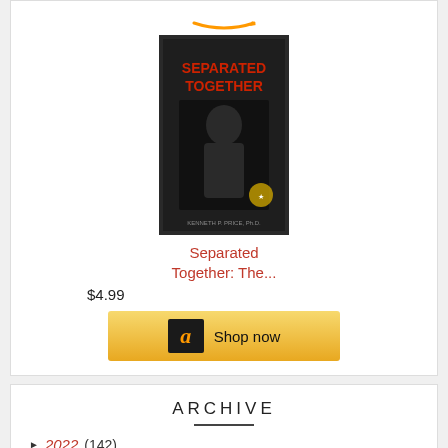[Figure (screenshot): Amazon product listing for 'Separated Together: The...' book priced at $4.99 with a Shop now button]
Separated Together: The...
$4.99
ARCHIVE
► 2022 (142)
► 2021 (188)
▼ 2020 (199)
► December (20)
► November (19)
► October (14)